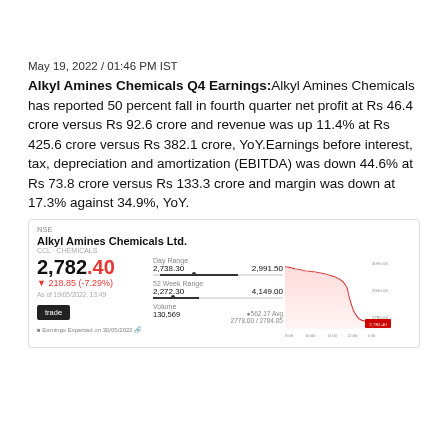May 19, 2022 / 01:46 PM IST
Alkyl Amines Chemicals Q4 Earnings: Alkyl Amines Chemicals has reported 50 percent fall in fourth quarter net profit at Rs 46.4 crore versus Rs 92.6 crore and revenue was up 11.4% at Rs 425.6 crore versus Rs 382.1 crore, YoY. Earnings before interest, tax, depreciation and amortization (EBITDA) was down 44.6% at Rs 73.8 crore versus Rs 133.3 crore and margin was down at 17.3% against 34.9%, YoY.
[Figure (screenshot): Stock widget for Alkyl Amines Chemicals Ltd. showing price 2,782.40, change -218.85 (-7.29%), with day range, 52-week range, volume, and an intraday line chart showing a declining price trend.]